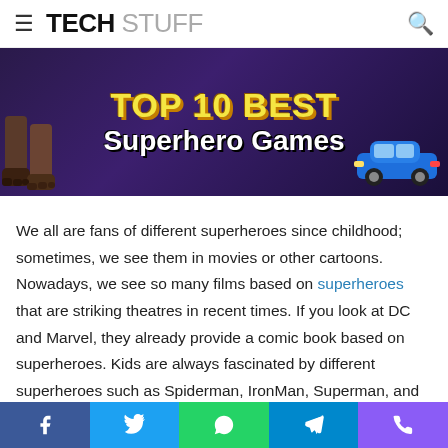TECH STUFF
[Figure (photo): Banner image with dark purple background showing 'TOP 10 BEST Superhero Games' text in yellow and white, with character feet on left and a blue car on the right.]
We all are fans of different superheroes since childhood; sometimes, we see them in movies or other cartoons. Nowadays, we see so many films based on superheroes that are striking theatres in recent times. If you look at DC and Marvel, they already provide a comic book based on superheroes. Kids are always fascinated by different superheroes such as Spiderman, IronMan, Superman, and more, always occupying their hearts.
However, it is interesting to know that there are so many